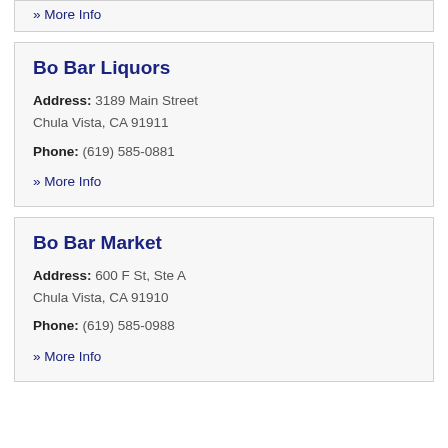» More Info
Bo Bar Liquors
Address: 3189 Main Street
Chula Vista, CA 91911
Phone: (619) 585-0881
» More Info
Bo Bar Market
Address: 600 F St, Ste A
Chula Vista, CA 91910
Phone: (619) 585-0988
» More Info